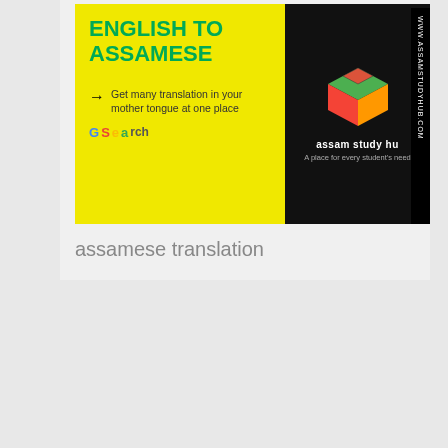[Figure (illustration): Advertisement banner for English to Assamese translation service. Left portion has yellow background with bold green text 'ENGLISH TO ASSAMESE', an arrow pointing right with text 'Get many translation in your mother tongue at one place', and a GSearch logo. Right portion has black background with a colorful cube logo and 'assam study hu' text. A vertical strip on the far right shows website URL text.]
assamese translation